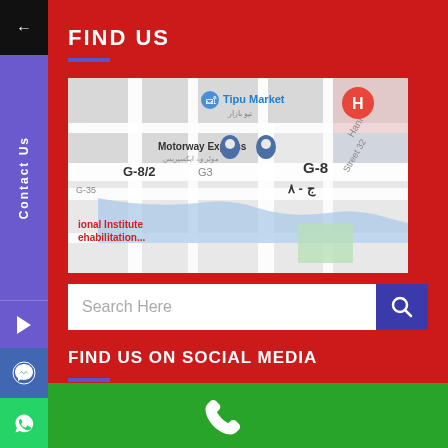FIND US
[Figure (map): Google Maps screenshot showing area near G-8/2, G-8, Motorway Express, Tipu Market, National Institute of Rehabilitation, Islamabad]
Search Here
FIND US ON SOCIAL MEDIA